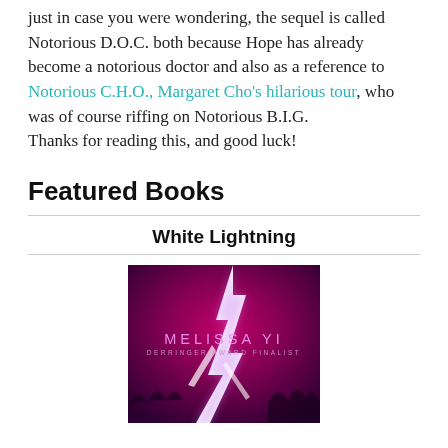just in case you were wondering, the sequel is called Notorious D.O.C. both because Hope has already become a notorious doctor and also as a reference to Notorious C.H.O., Margaret Cho's hilarious tour, who was of course riffing on Notorious B.I.G. Thanks for reading this, and good luck!
Featured Books
White Lightning
[Figure (illustration): Book cover for 'White Lightning' by Melissa Yi. Dark purple/magenta background with a bright white and purple lightning bolt striking down the center. Text reads 'MELISSA YI' and 'DERRINGER AWARD FINALIST'.]